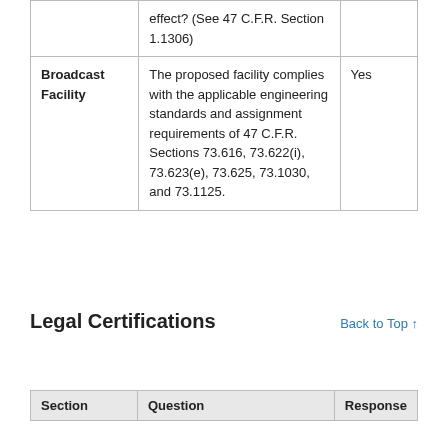| Section | Question | Response |
| --- | --- | --- |
|  | effect? (See 47 C.F.R. Section 1.1306) |  |
| Broadcast Facility | The proposed facility complies with the applicable engineering standards and assignment requirements of 47 C.F.R. Sections 73.616, 73.622(i), 73.623(e), 73.625, 73.1030, and 73.1125. | Yes |
Legal Certifications
Back to Top ↑
| Section | Question | Response |
| --- | --- | --- |